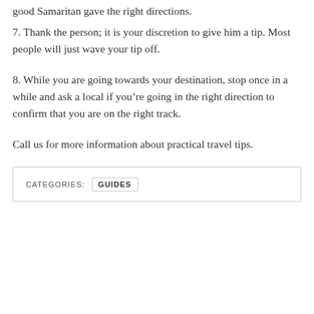good Samaritan gave the right directions.
7. Thank the person; it is your discretion to give him a tip. Most people will just wave your tip off.
8. While you are going towards your destination, stop once in a while and ask a local if you're going in the right direction to confirm that you are on the right track.
Call us for more information about practical travel tips.
CATEGORIES: GUIDES